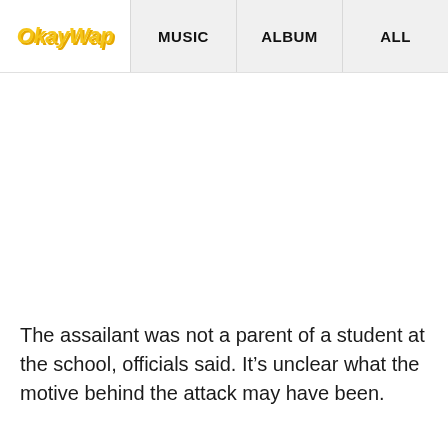OkayWap | MUSIC | ALBUM | ALL
The assailant was not a parent of a student at the school, officials said. It’s unclear what the motive behind the attack may have been.